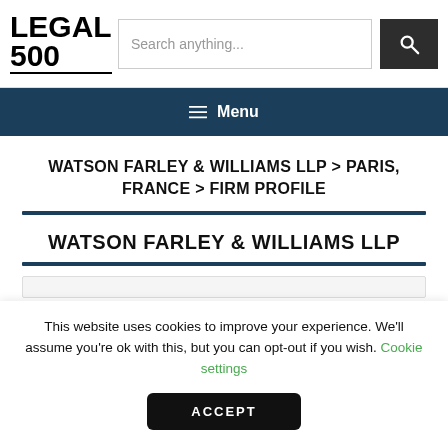LEGAL 500 — Search anything...
≡ Menu
WATSON FARLEY & WILLIAMS LLP > PARIS, FRANCE > FIRM PROFILE
WATSON FARLEY & WILLIAMS LLP
This website uses cookies to improve your experience. We'll assume you're ok with this, but you can opt-out if you wish. Cookie settings
ACCEPT